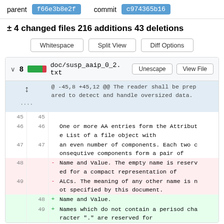parent f66e3b8e2f   commit c974365b16
± 4 changed files 216 additions 43 deletions
Whitespace | Split View | Diff Options
| old ln | new ln | sign | code |
| --- | --- | --- | --- |
|  |  |  | @ -45,8 +45,12 @@ The reader shall be prepared to detect and handle oversized data. |
| 45 | 45 |  |  |
| 46 | 46 |  | One or more AA entries form the Attribute List of a file object with |
| 47 | 47 |  | an even number of components. Each two consequtive components form a pair of |
| 48 |  | - | Name and Value. The empty name is reserved for a compact representation of |
| 49 |  | - | ALCs. The meaning of any other name is not specified by this document. |
|  | 48 | + | Name and Value. |
|  | 49 | + | Names which do not contain a perisod character "." are reserved for |